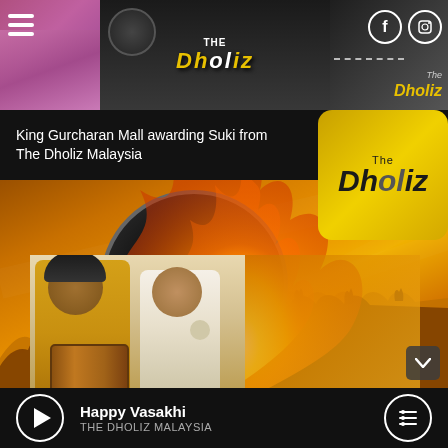[Figure (screenshot): Top banner with three photo panels: left panel shows a person in pink/purple outfit, center panel shows an award ceremony with Dholiz logo overlay, right panel shows social media icons (Facebook and Instagram) with dashed line decoration]
King Gurcharan Mall awarding Suki from The Dholiz Malaysia
[Figure (photo): Main photo of two men: left man wearing traditional yellow Punjabi outfit with dhol drum, right man in white patterned shirt. Background features fire imagery with orange/gold tones, silhouette of crowd with raised hands, and The Dholiz Malaysia branding]
Happy Vasakhi
THE DHOLIZ MALAYSIA